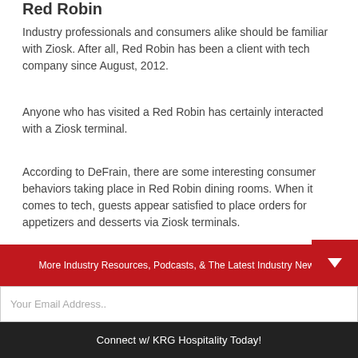Red Robin
Industry professionals and consumers alike should be familiar with Ziosk. After all, Red Robin has been a client with tech company since August, 2012.
Anyone who has visited a Red Robin has certainly interacted with a Ziosk terminal.
According to DeFrain, there are some interesting consumer behaviors taking place in Red Robin dining rooms. When it comes to tech, guests appear satisfied to place orders for appetizers and desserts via Ziosk terminals.
As DeFrain sees it, the guest would rather not wait for a
More Industry Resources, Podcasts, & The Latest Industry News
Your Email Address..
Connect w/ KRG Hospitality Today!